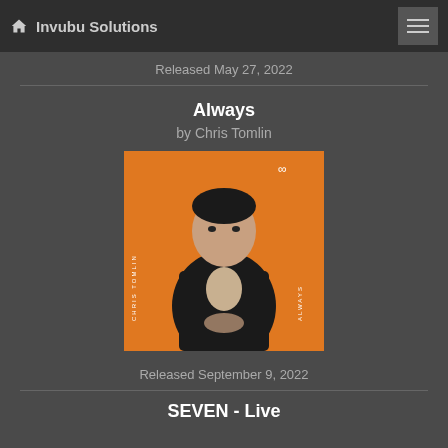Invubu Solutions
Released May 27, 2022
Always
by Chris Tomlin
[Figure (photo): Album cover for 'Always' by Chris Tomlin. Orange background with black and white photo of Chris Tomlin (man in dark jacket). Text 'CHRIS TOMLIN' vertically on left side, 'ALWAYS' vertically on bottom left, infinity symbol top right.]
Released September 9, 2022
SEVEN - Live